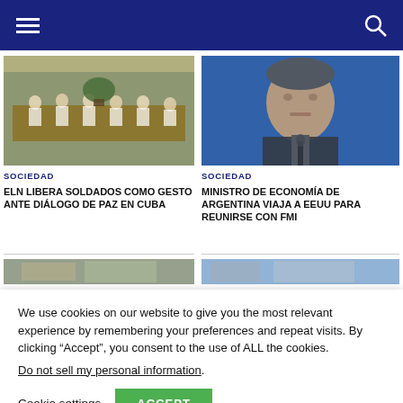Navigation header with hamburger menu and search icon
[Figure (photo): Meeting room with people seated around a long table, indoor plants, glass ceiling]
[Figure (photo): Man in suit speaking at a press conference with blue background]
SOCIEDAD
ELN LIBERA SOLDADOS COMO GESTO ANTE DIÁLOGO DE PAZ EN CUBA
SOCIEDAD
MINISTRO DE ECONOMÍA DE ARGENTINA VIAJA A EEUU PARA REUNIRSE CON FMI
[Figure (photo): Partially visible news image on left]
[Figure (photo): Partially visible news image on right]
We use cookies on our website to give you the most relevant experience by remembering your preferences and repeat visits. By clicking “Accept”, you consent to the use of ALL the cookies.
Do not sell my personal information.
Cookie settings
ACCEPT